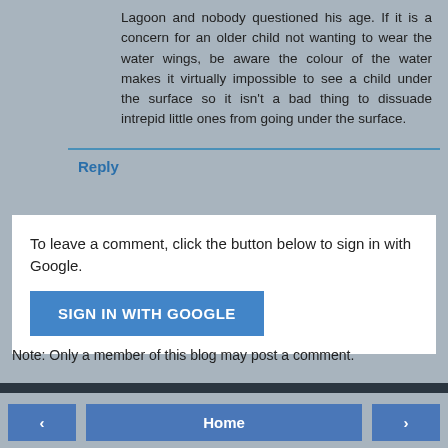Lagoon and nobody questioned his age. If it is a concern for an older child not wanting to wear the water wings, be aware the colour of the water makes it virtually impossible to see a child under the surface so it isn't a bad thing to dissuade intrepid little ones from going under the surface.
Reply
To leave a comment, click the button below to sign in with Google.
SIGN IN WITH GOOGLE
Note: Only a member of this blog may post a comment.
Home